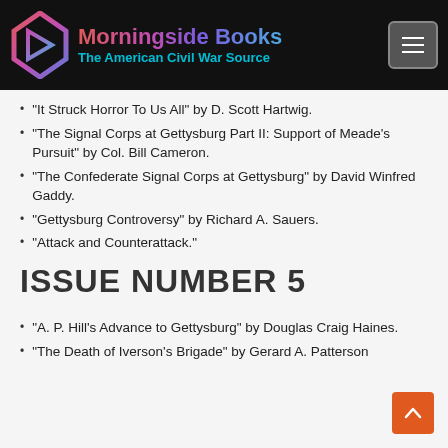[Figure (logo): Morningside Books logo with icon and text 'The American Civil War Source' on black header bar]
“It Struck Horror To Us All” by D. Scott Hartwig.
“The Signal Corps at Gettysburg Part II: Support of Meade’s Pursuit” by Col. Bill Cameron.
“The Confederate Signal Corps at Gettysburg” by David Winfred Gaddy.
“Gettysburg Controversy” by Richard A. Sauers.
“Attack and Counterattack.”
ISSUE NUMBER 5
“A. P. Hill’s Advance to Gettysburg” by Douglas Craig Haines.
“The Death of Iverson’s Brigade” by Gerard A. Patterson